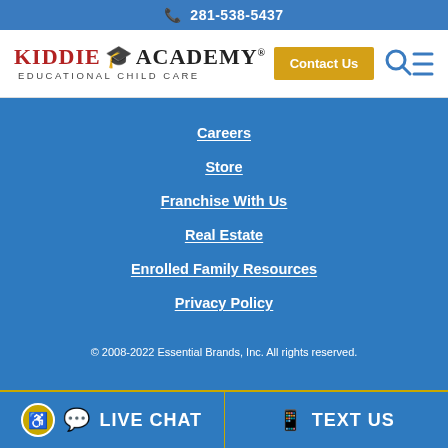📞 281-538-5437
[Figure (logo): Kiddie Academy Educational Child Care logo with graduation cap, Contact Us button, and search/menu icons]
Careers
Store
Franchise With Us
Real Estate
Enrolled Family Resources
Privacy Policy
© 2008-2022 Essential Brands, Inc. All rights reserved.
LIVE CHAT   TEXT US